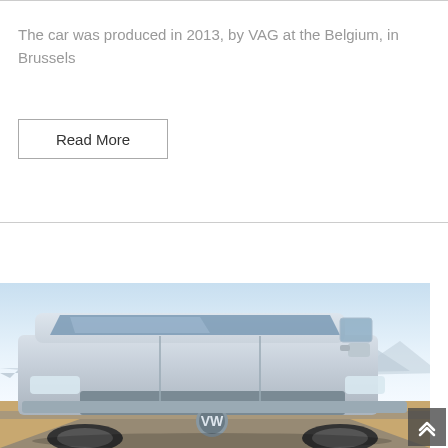The car was produced in 2013, by VAG at the Belgium, in Brussels
Read More
[Figure (photo): Front view of a silver Volkswagen Transporter van photographed outdoors with mountains and sky in the background]